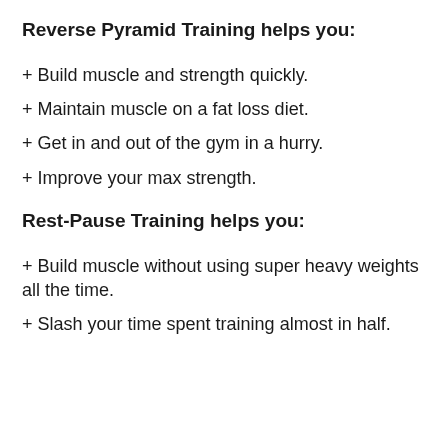Reverse Pyramid Training helps you:
+ Build muscle and strength quickly.
+ Maintain muscle on a fat loss diet.
+ Get in and out of the gym in a hurry.
+ Improve your max strength.
Rest-Pause Training helps you:
+ Build muscle without using super heavy weights all the time.
+ Slash your time spent training almost in half.